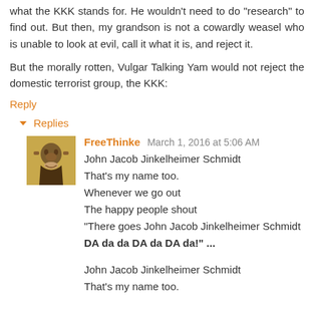what the KKK stands for. He wouldn't need to do "research" to find out. But then, my grandson is not a cowardly weasel who is unable to look at evil, call it what it is, and reject it.
But the morally rotten, Vulgar Talking Yam would not reject the domestic terrorist group, the KKK:
Reply
▾ Replies
FreeThinke March 1, 2016 at 5:06 AM
John Jacob Jinkelheimer Schmidt
That's my name too.
Whenever we go out
The happy people shout
"There goes John Jacob Jinkelheimer Schmidt
DA da da DA da DA da!" ...

John Jacob Jinkelheimer Schmidt
That's my name too.